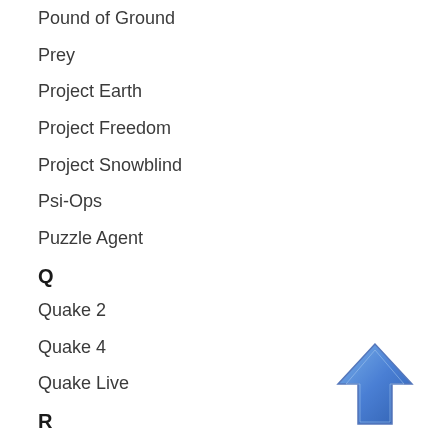Pound of Ground
Prey
Project Earth
Project Freedom
Project Snowblind
Psi-Ops
Puzzle Agent
Q
Quake 2
Quake 4
Quake Live
R
Raven Squad
Red Faction 2
Rusty Hearts
S
[Figure (illustration): Blue upward-pointing arrow icon in the bottom-right corner]